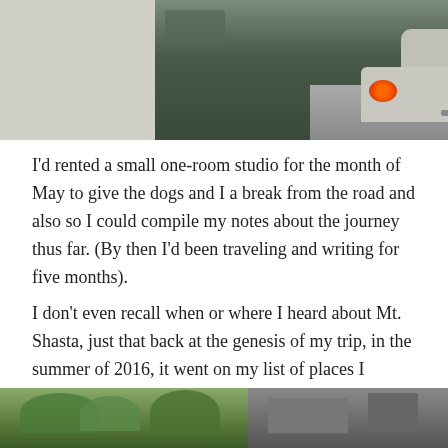[Figure (photo): Rear view of a silver car with red brake lights lit, seen from behind on a road/street. The background shows a street scene with buildings and parked cars.]
I'd rented a small one-room studio for the month of May to give the dogs and I a break from the road and also so I could compile my notes about the journey thus far. (By then I'd been traveling and writing for five months).
I don't even recall when or where I heard about Mt. Shasta, just that back at the genesis of my trip, in the summer of 2016, it went on my list of places I wanted to see. I knew it was a funky little mountain haven for a lot of mystics and seekers and hippies and “woo-woo's.”
[Figure (photo): Bottom portion of a photo showing trees and what appears to be a building or sign in a mountain town setting.]